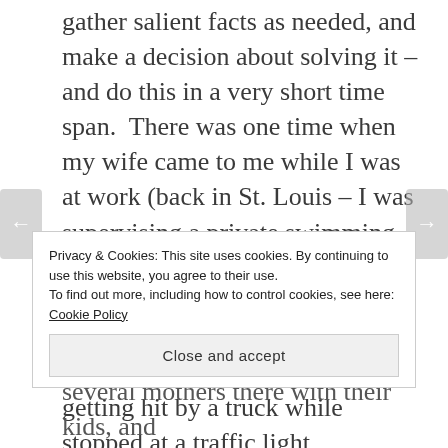gather salient facts as needed, and make a decision about solving it – and do this in a very short time span.  There was one time when my wife came to me while I was at work (back in St. Louis – I was supervising a private swimming pool at the time) to inform me that she had wrecked our new car (her words, sobbed through copious quantities of tears) by getting hit by a truck while stopped at a traffic light.
It was about to say something that if
Privacy & Cookies: This site uses cookies. By continuing to use this website, you agree to their use.
To find out more, including how to control cookies, see here:
Cookie Policy
Close and accept
several mothers there with their kids, and